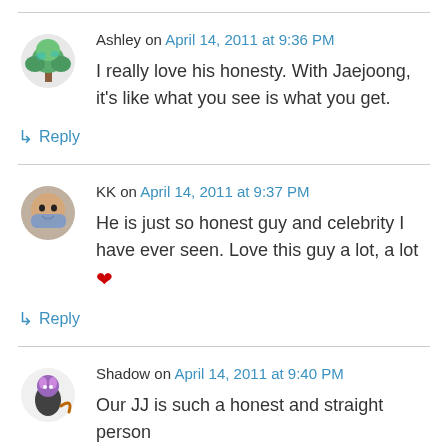Ashley on April 14, 2011 at 9:36 PM
I really love his honesty. With Jaejoong, it's like what you see is what you get.
↳ Reply
KK on April 14, 2011 at 9:37 PM
He is just so honest guy and celebrity I have ever seen. Love this guy a lot, a lot ❤
↳ Reply
Shadow on April 14, 2011 at 9:40 PM
Our JJ is such a honest and straight person